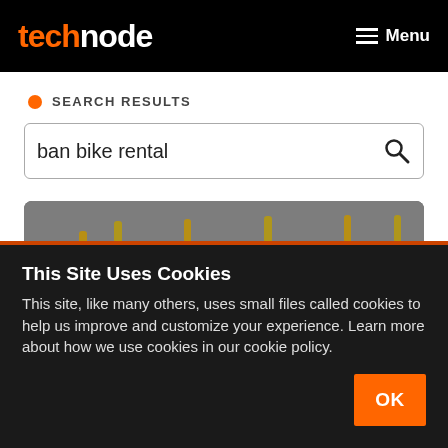technode  Menu
SEARCH RESULTS
ban bike rental
[Figure (photo): Row of shared rental bikes with black seats and yellow/orange frames, viewed from behind, parked closely together.]
This Site Uses Cookies
This site, like many others, uses small files called cookies to help us improve and customize your experience. Learn more about how we use cookies in our cookie policy.
OK